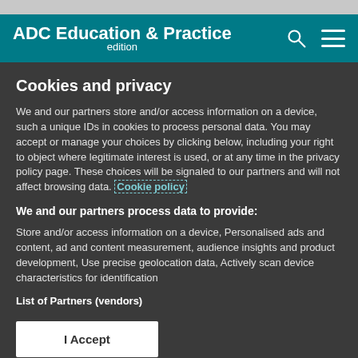ADC Education & Practice edition
Cookies and privacy
We and our partners store and/or access information on a device, such a unique IDs in cookies to process personal data. You may accept or manage your choices by clicking below, including your right to object where legitimate interest is used, or at any time in the privacy policy page. These choices will be signaled to our partners and will not affect browsing data. Cookie policy
We and our partners process data to provide:
Store and/or access information on a device, Personalised ads and content, ad and content measurement, audience insights and product development, Use precise geolocation data, Actively scan device characteristics for identification
List of Partners (vendors)
I Accept